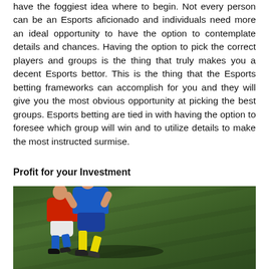have the foggiest idea where to begin. Not every person can be an Esports aficionado and individuals need more an ideal opportunity to have the option to contemplate details and chances. Having the option to pick the correct players and groups is the thing that truly makes you a decent Esports bettor. This is the thing that the Esports betting frameworks can accomplish for you and they will give you the most obvious opportunity at picking the best groups. Esports betting are tied in with having the option to foresee which group will win and to utilize details to make the most instructed surmise.
Profit for your Investment
[Figure (photo): Two soccer players in action on a grass field. One player in a blue jersey and yellow socks is competing with another player in a red top and white shorts with blue socks.]